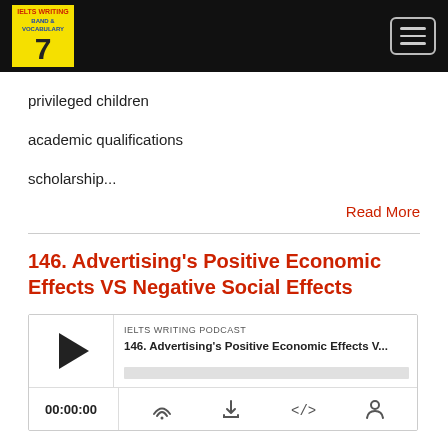IELTS Writing Band 7 — Navigation header with logo and hamburger menu
privileged children
academic qualifications
scholarship...
Read More
146. Advertising's Positive Economic Effects VS Negative Social Effects
[Figure (other): Podcast player widget showing IELTS WRITING PODCAST, episode '146. Advertising's Positive Economic Effects V...', with play button, progress bar, time display 00:00:00, and controls (subscribe, download, embed, share)]
Jun 24, 2021
Some people say that advertising has positive economic